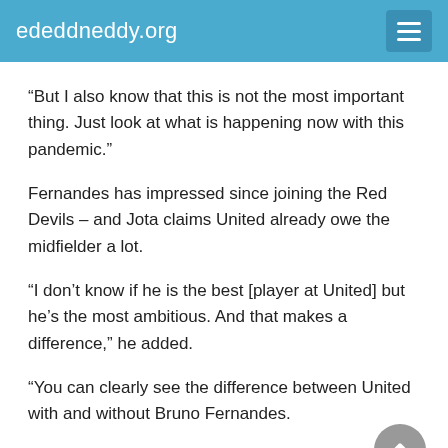ededdneddy.org
“But I also know that this is not the most important thing. Just look at what is happening now with this pandemic.”
Fernandes has impressed since joining the Red Devils – and Jota claims United already owe the midfielder a lot.
“I don’t know if he is the best [player at United] but he’s the most ambitious. And that makes a difference,” he added.
“You can clearly see the difference between United with and without Bruno Fernandes.